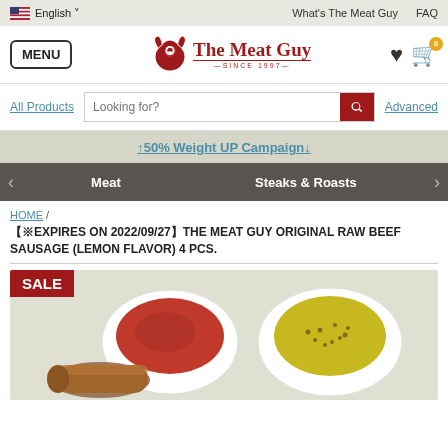English | What's The Meat Guy | FAQ
[Figure (logo): The Meat Guy logo with red bull icon, text 'The Meat Guy SINCE 1997']
MENU
All Products  Looking for?  Advanced
↑50% Weight UP Campaign↓
< Meat  Steaks & Roasts >
HOME / 【※EXPIRES ON 2022/09/27】THE MEAT GUY ORIGINAL RAW BEEF SAUSAGE (LEMON FLAVOR) 4 PCS.
[Figure (photo): Product photo showing raw beef sausages with two dipping sauces - ketchup and whole grain mustard - in white bowls on a light background. Red SALE badge in top left corner.]